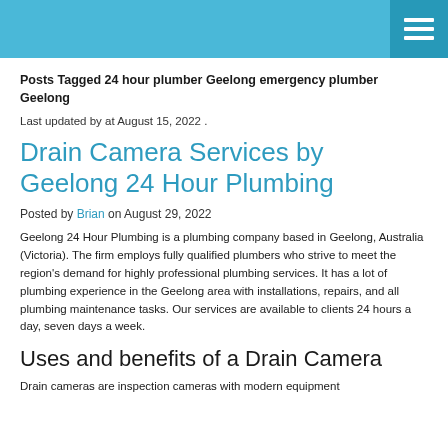Posts Tagged 24 hour plumber Geelong emergency plumber Geelong
Last updated by at August 15, 2022 .
Drain Camera Services by Geelong 24 Hour Plumbing
Posted by Brian on August 29, 2022
Geelong 24 Hour Plumbing is a plumbing company based in Geelong, Australia (Victoria). The firm employs fully qualified plumbers who strive to meet the region's demand for highly professional plumbing services. It has a lot of plumbing experience in the Geelong area with installations, repairs, and all plumbing maintenance tasks. Our services are available to clients 24 hours a day, seven days a week.
Uses and benefits of a Drain Camera
Drain cameras are inspection cameras with modern equipment